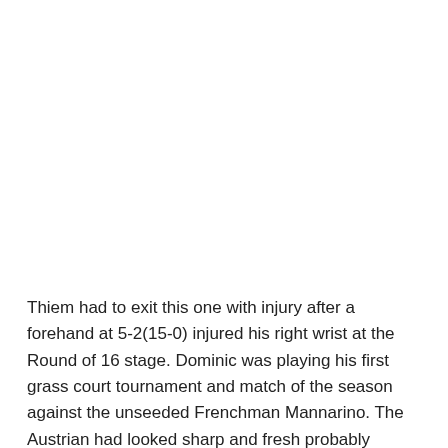Thiem had to exit this one with injury after a forehand at 5-2(15-0) injured his right wrist at the Round of 16 stage. Dominic was playing his first grass court tournament and match of the season against the unseeded Frenchman Mannarino. The Austrian had looked sharp and fresh probably benefitting from playing less matches having lost in the opening round at Roland Garros. Check out the